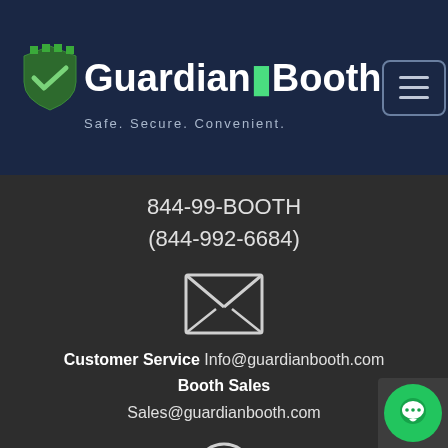[Figure (logo): Guardian Booth logo with shield icon and text 'Guardian Booth' and tagline 'Safe. Secure. Convenient.']
844-99-BOOTH
(844-992-6684)
[Figure (illustration): Envelope/mail icon]
Customer Service Info@guardianbooth.com
Booth Sales
Sales@guardianbooth.com
[Figure (illustration): Clock icon]
Mon - Thu: 9:00 AM - 7:00PM EST